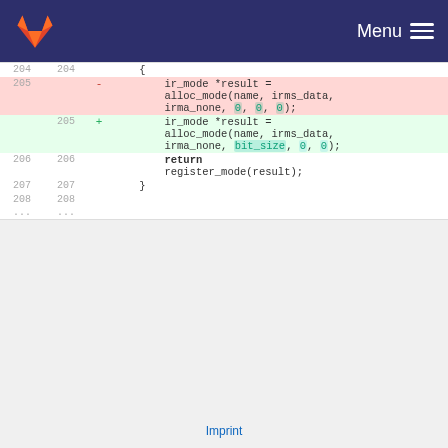[Figure (logo): GitLab fox logo in orange on dark navy header bar with Menu hamburger icon on the right]
| old_ln | new_ln | sign | code |
| --- | --- | --- | --- |
| 204 | 204 |  |     { |
| 205 |  | - |         ir_mode *result = alloc_mode(name, irms_data, irma_none, 0, 0, 0); |
|  | 205 | + |         ir_mode *result = alloc_mode(name, irms_data, irma_none, bit_size, 0, 0); |
| 206 | 206 |  |         return register_mode(result); |
| 207 | 207 |  |     } |
| 208 | 208 |  |  |
| ... | ... |  |  |
Please register or sign in to comment
Imprint